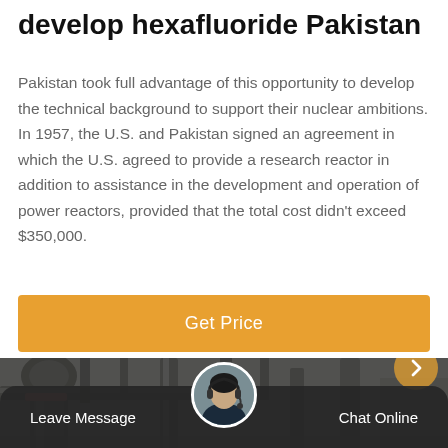develop hexafluoride Pakistan
Pakistan took full advantage of this opportunity to develop the technical background to support their nuclear ambitions. In 1957, the U.S. and Pakistan signed an agreement in which the U.S. agreed to provide a research reactor in addition to assistance in the development and operation of power reactors, provided that the total cost didn't exceed $350,000.
[Figure (other): Orange 'Get Price' button]
[Figure (photo): Industrial facility interior with metal pipes and machinery, with a navigation arrow overlay on the right side]
Leave Message   Chat Online